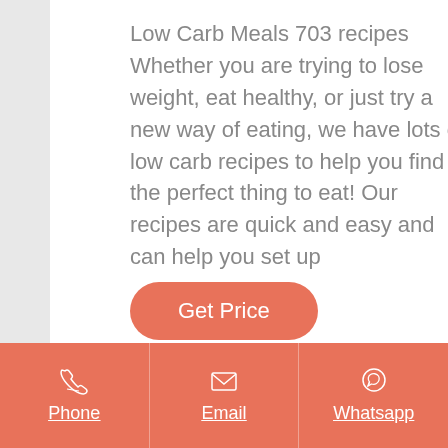Low Carb Meals 703 recipes Whether you are trying to lose weight, eat healthy, or just try a new way of eating, we have lots of low carb recipes to help you find the perfect thing to eat! Our recipes are quick and easy and can help you set up
Get Price
Phone | Email | Whatsapp